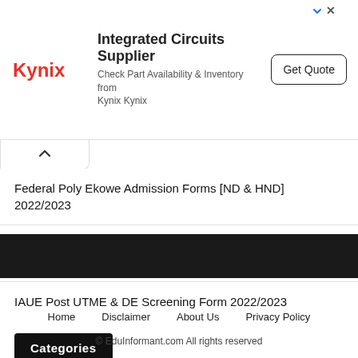[Figure (other): Kynix ad banner: Integrated Circuits Supplier, Check Part Availability & Inventory from Kynix Kynix, with Get Quote button]
Federal Poly Ekowe Admission Forms [ND & HND] 2022/2023
IAUE Part-Time Degree Admission Form 2022/2023 [REGULAR & WEEKEND]
IAUE Post UTME & DE Screening Form 2022/2023
Categories
Select Category
Home    Disclaimer    About Us    Privacy Policy
© EduInformant.com All rights reserved